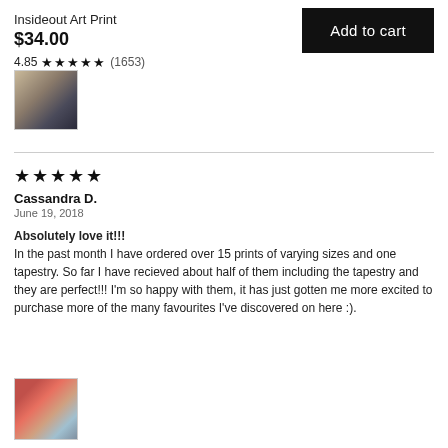Insideout Art Print
$34.00
4.85 ★★★★★ (1653)
[Figure (photo): Small thumbnail photo of a framed art print on a wall]
[Figure (illustration): Add to cart button, black background with white text]
★★★★★
Cassandra D.
June 19, 2018
Absolutely love it!!!
In the past month I have ordered over 15 prints of varying sizes and one tapestry. So far I have recieved about half of them including the tapestry and they are perfect!!! I'm so happy with them, it has just gotten me more excited to purchase more of the many favourites I've discovered on here :).
[Figure (photo): Small thumbnail photo showing a colorful tapestry or art print]